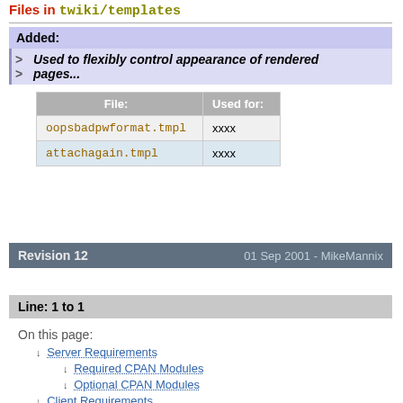Files in twiki/templates
Added:
Used to flexibly control appearance of rendered pages...
| File: | Used for: |
| --- | --- |
| oopsbadpwformat.tmpl | xxxx |
| attachagain.tmpl | xxxx |
Revision 12    01 Sep 2001 - MikeMannix
Line: 1 to 1
On this page:
Server Requirements
Required CPAN Modules
Optional CPAN Modules
Client Requirements